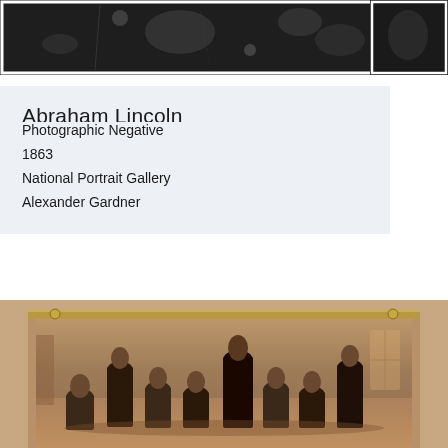[Figure (photo): Photographic negative of Abraham Lincoln, 1863, dark tones with white border, partial view]
Abraham Lincoln
Photographic Negative
1863
National Portrait Gallery
Alexander Gardner
[Figure (photo): Sepia-toned group portrait photograph of approximately 9-10 men in 19th century formal attire, some seated and some standing, displayed in a light wooden or gilt frame with metal hardware at top]